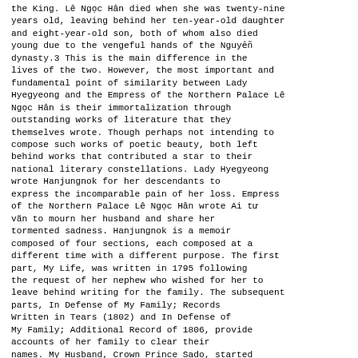the King. Lê Ngọc Hân died when she was twenty-nine years old, leaving behind her ten-year-old daughter and eight-year-old son, both of whom also died young due to the vengeful hands of the Nguyễn dynasty.3 This is the main difference in the lives of the two. However, the most important and fundamental point of similarity between Lady Hyegyeong and the Empress of the Northern Palace Lê Ngọc Hân is their immortalization through outstanding works of literature that they themselves wrote. Though perhaps not intending to compose such works of poetic beauty, both left behind works that contributed a star to their national literary constellations. Lady Hyegyeong wrote Hanjungnok for her descendants to express the incomparable pain of her loss. Empress of the Northern Palace Lê Ngọc Hân wrote Ai tư vãn to mourn her husband and share her tormented sadness. Hanjungnok is a memoir composed of four sections, each composed at a different time with a different purpose. The first part, My Life, was written in 1795 following the request of her nephew who wished for her to leave behind writing for the family. The subsequent parts, In Defense of My Family; Records Written in Tears (1802) and In Defense of My Family; Additional Record of 1806, provide accounts of her family to clear their names. My Husband, Crown Prince Sado, started in 1802 and completed in 1805, sheds light on